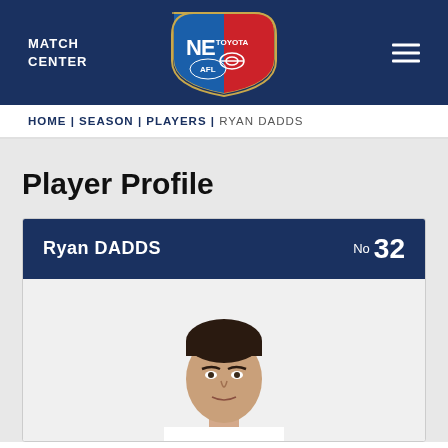MATCH CENTER
HOME | SEASON | PLAYERS | RYAN DADDS
Player Profile
Ryan DADDS  No 32
[Figure (photo): Player photo of Ryan Dadds, a young man with dark hair wearing a white AFL jersey]